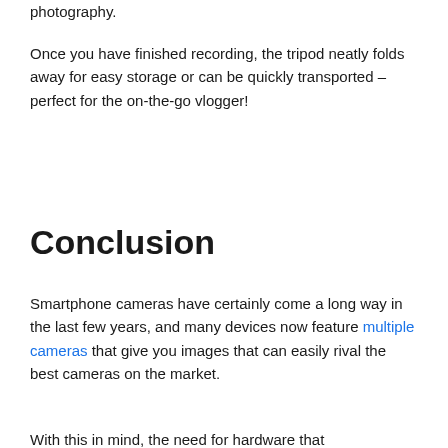photography.
Once you have finished recording, the tripod neatly folds away for easy storage or can be quickly transported – perfect for the on-the-go vlogger!
Conclusion
Smartphone cameras have certainly come a long way in the last few years, and many devices now feature multiple cameras that give you images that can easily rival the best cameras on the market.
With this in mind, the need for hardware that